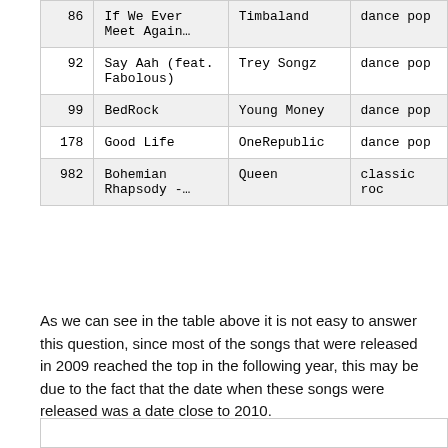|  | Song | Artist | Genre |
| --- | --- | --- | --- |
| 86 | If We Ever Meet Again… | Timbaland | dance pop |
| 92 | Say Aah (feat. Fabolous) | Trey Songz | dance pop |
| 99 | BedRock | Young Money | dance pop |
| 178 | Good Life | OneRepublic | dance pop |
| 982 | Bohemian Rhapsody -… | Queen | classic roc |
As we can see in the table above it is not easy to answer this question, since most of the songs that were released in 2009 reached the top in the following year, this may be due to the fact that the date when these songs were released was a date close to 2010. In order to get an answer that satisfies our initial question, let's remove those songs that reached the top in 2010.